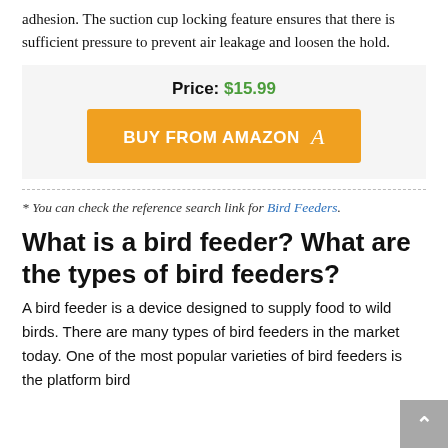adhesion. The suction cup locking feature ensures that there is sufficient pressure to prevent air leakage and loosen the hold.
Price: $15.99
[Figure (other): Orange 'BUY FROM AMAZON' button with Amazon logo 'a' on light gray background]
* You can check the reference search link for Bird Feeders.
What is a bird feeder? What are the types of bird feeders?
A bird feeder is a device designed to supply food to wild birds. There are many types of bird feeders in the market today. One of the most popular varieties of bird feeders is the platform bird